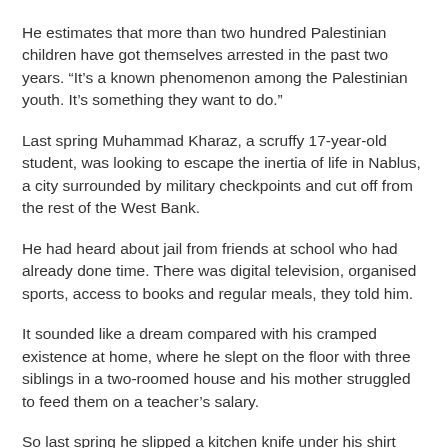He estimates that more than two hundred Palestinian children have got themselves arrested in the past two years. “It’s a known phenomenon among the Palestinian youth. It’s something they want to do.”
Last spring Muhammad Kharaz, a scruffy 17-year-old student, was looking to escape the inertia of life in Nablus, a city surrounded by military checkpoints and cut off from the rest of the West Bank.
He had heard about jail from friends at school who had already done time. There was digital television, organised sports, access to books and regular meals, they told him.
It sounded like a dream compared with his cramped existence at home, where he slept on the floor with three siblings in a two-roomed house and his mother struggled to feed them on a teacher’s salary.
So last spring he slipped a kitchen knife under his shirt and made his way to Hawara, an Israeli military checkpoint on the city’s south side. “I was feeling desperate, so I thought I